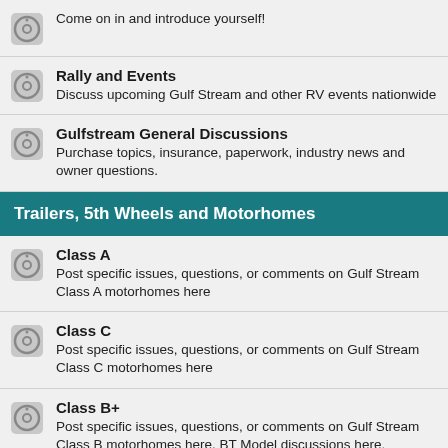Come on in and introduce yourself!
Rally and Events
Discuss upcoming Gulf Stream and other RV events nationwide
Gulfstream General Discussions
Purchase topics, insurance, paperwork, industry news and owner questions.
Trailers, 5th Wheels and Motorhomes
Class A
Post specific issues, questions, or comments on Gulf Stream Class A motorhomes here
Class C
Post specific issues, questions, or comments on Gulf Stream Class C motorhomes here
Class B+
Post specific issues, questions, or comments on Gulf Stream Class B motorhomes here. BT Model discussions here.
5th Wheels
Post specific issues, questions, or comments on Gulf Stream 5th Wheels here.